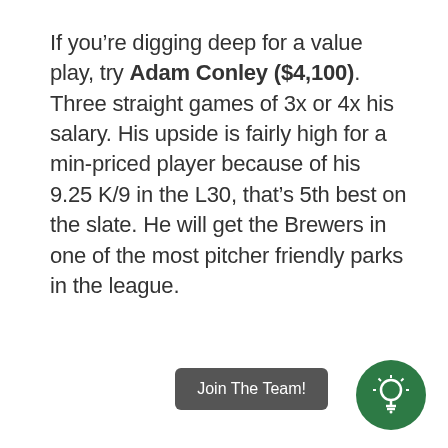If you're digging deep for a value play, try Adam Conley ($4,100). Three straight games of 3x or 4x his salary. His upside is fairly high for a min-priced player because of his 9.25 K/9 in the L30, that's 5th best on the slate. He will get the Brewers in one of the most pitcher friendly parks in the league.
Join The Team!